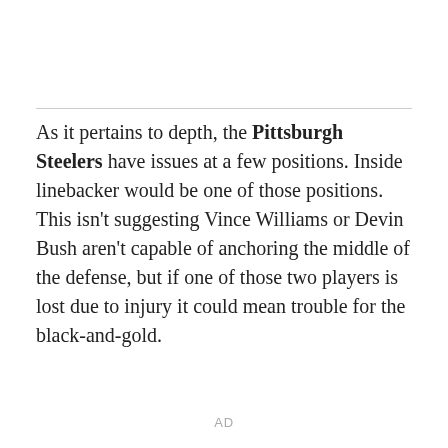As it pertains to depth, the Pittsburgh Steelers have issues at a few positions. Inside linebacker would be one of those positions. This isn't suggesting Vince Williams or Devin Bush aren't capable of anchoring the middle of the defense, but if one of those two players is lost due to injury it could mean trouble for the black-and-gold.
AD